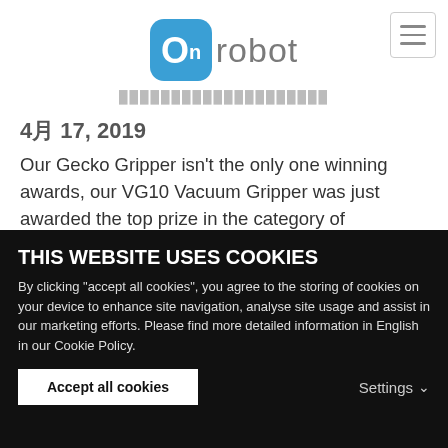[Figure (logo): OnRobot logo — blue rounded square icon with 'On' text and grey 'robot' wordmark]
█████████████████████
4月 17, 2019
Our Gecko Gripper isn't the only one winning awards, our VG10 Vacuum Gripper was just awarded the top prize in the category of equipment for robots by Control Engineering Polska.
READ ARTICLE
THIS WEBSITE USES COOKIES
By clicking "accept all cookies", you agree to the storing of cookies on your device to enhance site navigation, analyse site usage and assist in our marketing efforts. Please find more detailed information in English in our Cookie Policy.
Accept all cookies
Settings